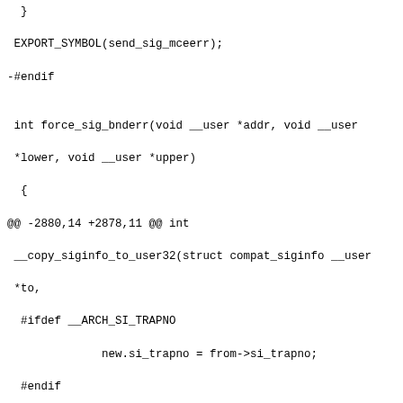Diff/patch code showing changes to signal handling code in Linux kernel, including force_sig_bnderr and __copy_siginfo_to_user32 functions, with BUS_MCEERR_AR and BUS_MCEERR_AO #ifdef blocks being modified.